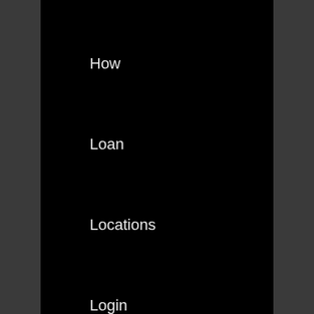How
Loan
Locations
Login
Mortgage
Near
Number
One
Online